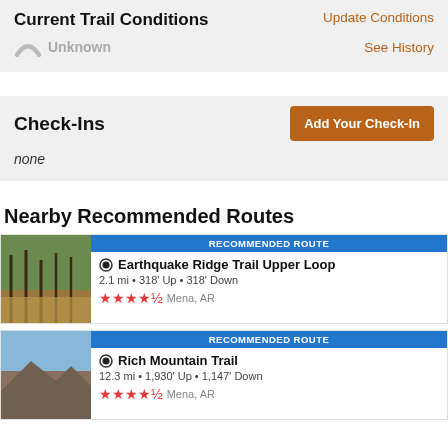Current Trail Conditions
Update Conditions
Unknown
See History
Check-Ins
Add Your Check-In
none
Nearby Recommended Routes
RECOMMENDED ROUTE
Earthquake Ridge Trail Upper Loop
2.1 mi • 318' Up • 318' Down
Mena, AR
RECOMMENDED ROUTE
Rich Mountain Trail
12.3 mi • 1,930' Up • 1,147' Down
Mena, AR